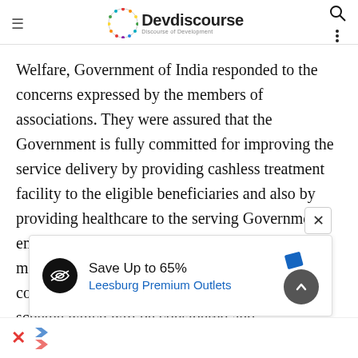Devdiscourse — Discourse of Development
Welfare, Government of India responded to the concerns expressed by the members of associations. They were assured that the Government is fully committed for improving the service delivery by providing cashless treatment facility to the eligible beneficiaries and also by providing healthcare to the serving Government employees. It was conveyed to the association members that the Health Ministry is in complete cognizance of certain demands pertaining to the scheme which will be considered and
[Figure (screenshot): Advertisement banner: Save Up to 65% Leesburg Premium Outlets with logo icon and navigation arrow button]